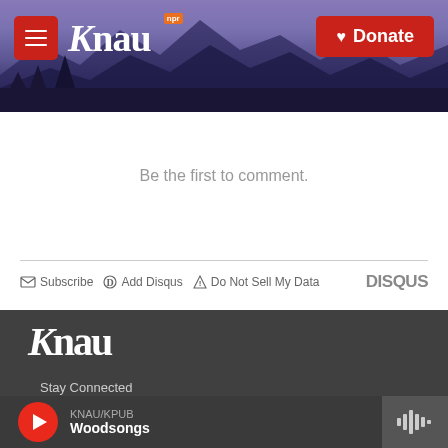KNAU NPR — Donate
Be the first to comment.
Subscribe   Add Disqus   Do Not Sell My Data   DISQUS
[Figure (logo): KNAU white logo on dark gray footer background]
Stay Connected
KNAU/KPUB
Woodsongs